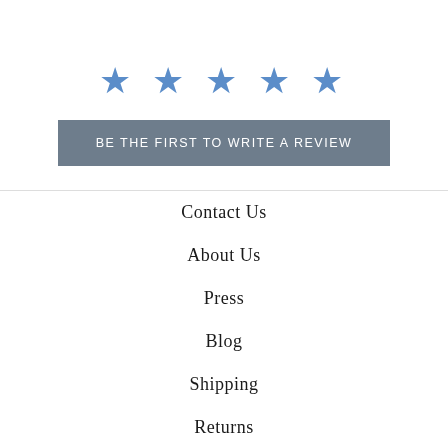[Figure (other): Five blue star icons representing a 5-star rating display]
BE THE FIRST TO WRITE A REVIEW
Contact Us
About Us
Press
Blog
Shipping
Returns
Privacy Policy
Terms of Service